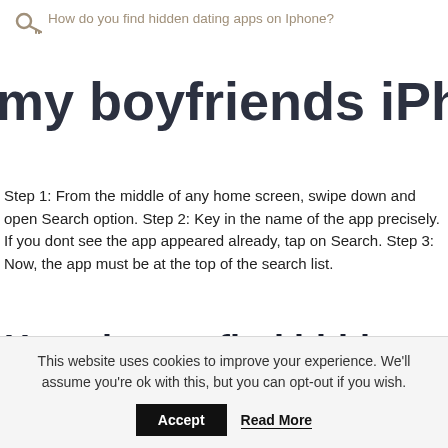How do you find hidden dating apps on Iphone?
my boyfriends iPhone?
Step 1: From the middle of any home screen, swipe down and open Search option. Step 2: Key in the name of the app precisely. If you dont see the app appeared already, tap on Search. Step 3: Now, the app must be at the top of the search list.
How do you find hidden tinder
This website uses cookies to improve your experience. We'll assume you're ok with this, but you can opt-out if you wish.
Accept   Read More